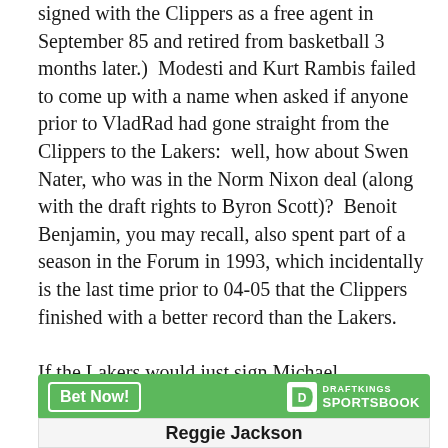signed with the Clippers as a free agent in September 85 and retired from basketball 3 months later.)  Modesti and Kurt Rambis failed to come up with a name when asked if anyone prior to VladRad had gone straight from the Clippers to the Lakers:  well, how about Swen Nater, who was in the Norm Nixon deal (along with the draft rights to Byron Scott)?  Benoit Benjamin, you may recall, also spent part of a season in the Forum in 1993, which incidentally is the last time prior to 04-05 that the Clippers finished with a better record than the Lakers.

If the Lakers would just sign Michael Olowokandi, everything will have come full circle.
[Figure (other): DraftKings Sportsbook advertisement banner with a green background, a 'Bet Now!' button on the left, and the DraftKings Sportsbook logo on the right.]
Reggie Jackson